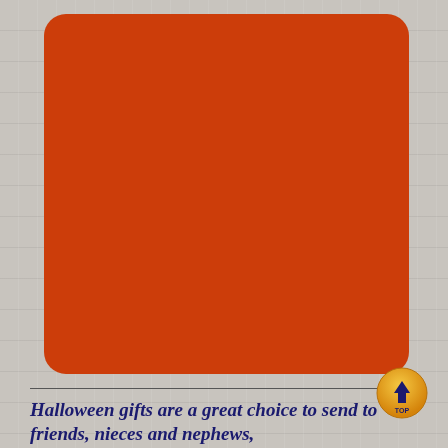[Figure (illustration): Large orange-red rounded rectangle on a gray wood-grain textured background]
Halloween gifts are a great choice to send to friends, nieces and nephews,